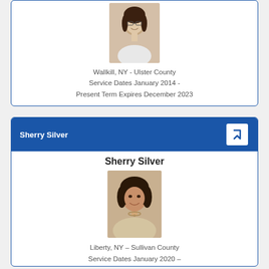[Figure (photo): Headshot photo of a woman with dark hair, smiling, wearing a white top. Partial top card.]
Wallkill, NY - Ulster County
Service Dates January 2014 -
Present Term Expires December 2023
Sherry Silver
Sherry Silver
[Figure (photo): Headshot photo of Sherry Silver, a woman with short dark curly hair, smiling, wearing a light jacket and necklace.]
Liberty, NY – Sullivan County
Service Dates January 2020 –
Present Term Expires December 2024*
*Eligible for re-election